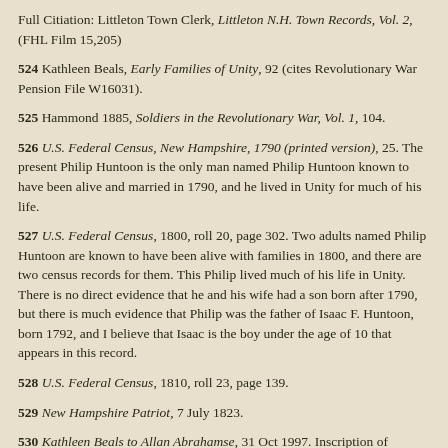Full Citiation: Littleton Town Clerk, Littleton N.H. Town Records, Vol. 2, (FHL Film 15,205)
524 Kathleen Beals, Early Families of Unity, 92 (cites Revolutionary War Pension File W16031).
525 Hammond 1885, Soldiers in the Revolutionary War, Vol. 1, 104.
526 U.S. Federal Census, New Hampshire, 1790 (printed version), 25. The present Philip Huntoon is the only man named Philip Huntoon known to have been alive and married in 1790, and he lived in Unity for much of his life.
527 U.S. Federal Census, 1800, roll 20, page 302. Two adults named Philip Huntoon are known to have been alive with families in 1800, and there are two census records for them. This Philip lived much of his life in Unity. There is no direct evidence that he and his wife had a son born after 1790, but there is much evidence that Philip was the father of Isaac F. Huntoon, born 1792, and I believe that Isaac is the boy under the age of 10 that appears in this record.
528 U.S. Federal Census, 1810, roll 23, page 139.
529 New Hampshire Patriot, 7 July 1823.
530 Kathleen Beals to Allan Abrahamse, 31 Oct 1997. Inscription of tombstone in the Forest Hill Cemetery, Charlestown, New Hampshire: "Mrs. Polly wife of Philip Huntoon died Dec 1824 ae 74. Honored by her son Nathaniel in 1922".